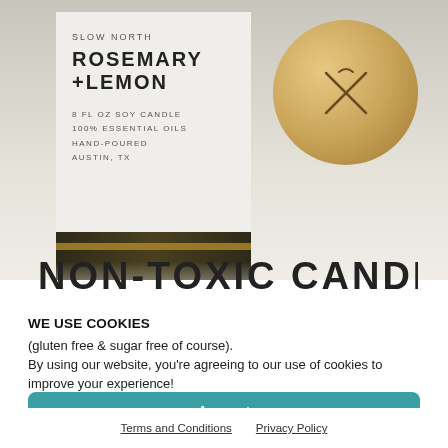[Figure (photo): A dark amber glass candle jar with a white label reading 'SLOW NORTH ROSEMARY +LEMON 8 FL OZ SOY CANDLE 100% ESSENTIAL OILS HAND-POURED AUSTIN, TX', next to a round cork lid with an X cross engraved on it, on a light gray reflective surface.]
NON-TOXIC CANDLES
WE USE COOKIES
(gluten free & sugar free of course).
By using our website, you're agreeing to our use of cookies to improve your experience!
Accept
Terms and Conditions   Privacy Policy